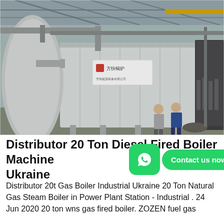[Figure (photo): Industrial boiler hall with large silver-cladded boiler unit bearing Chinese characters on a white label, two workers standing nearby, pipes and structural elements overhead, inside a large industrial building.]
Distributor 20 Ton Diesel Fired Boiler Machine Ukraine
Distributor 20t Gas Boiler Industrial Ukraine 20 Ton Natural Gas Steam Boiler in Power Plant Station - Industrial . 24 Jun 2020 20 ton wns gas fired boiler. ZOZEN fuel gas